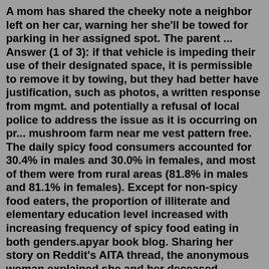A mom has shared the cheeky note a neighbor left on her car, warning her she'll be towed for parking in her assigned spot. The parent ... Answer (1 of 3): if that vehicle is impeding their use of their designated space, it is permissible to remove it by towing, but they had better have justification, such as photos, a written response from mgmt. and potentially a refusal of local police to address the issue as it is occurring on pr... mushroom farm near me vest pattern free. The daily spicy food consumers accounted for 30.4% in males and 30.0% in females, and most of them were from rural areas (81.8% in males and 81.1% in females). Except for non-spicy food eaters, the proportion of illiterate and elementary education level increased with increasing frequency of spicy food eating in both genders.apyar book blog. Sharing her story on Reddit's AITA thread, the anonymous woman explained she and her deceased husband, both in their late twenties, had talked about having children later, assuming they had plenty. 8.3.2021.The